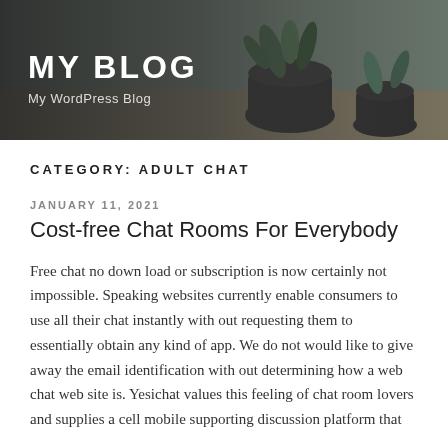[Figure (photo): Blog header banner with dark overlay showing potted plants on a table in the background. White text reads MY BLOG and My WordPress Blog.]
MY BLOG
My WordPress Blog
CATEGORY: ADULT CHAT
JANUARY 11, 2021
Cost-free Chat Rooms For Everybody
Free chat no down load or subscription is now certainly not impossible. Speaking websites currently enable consumers to use all their chat instantly with out requesting them to essentially obtain any kind of app. We do not would like to give away the email identification with out determining how a web chat web site is. Yesichat values this feeling of chat room lovers and supplies a cell mobile supporting discussion platform that